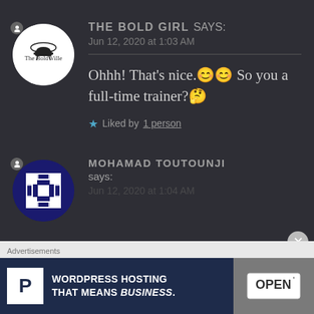[Figure (illustration): Avatar of The Bold Ville - circular white background with helicopter logo and text 'The Bold Ville']
THE BOLD GIRL says:
Jun 12, 2020 at 1:03 AM
Ohhh! That's nice.😊😊 So you a full-time trainer?🤔
★ Liked by 1 person
[Figure (illustration): Avatar of Mohamad Toutounji - circular dark blue background with geometric grid pattern in white and dark blue]
MOHAMAD TOUTOUNJI says:
Jun 12, 2020 at 1:04 AM (partially visible)
Advertisements
[Figure (illustration): WordPress Hosting advertisement banner: P logo, text 'WORDPRESS HOSTING THAT MEANS BUSINESS.' and OPEN sign photo]